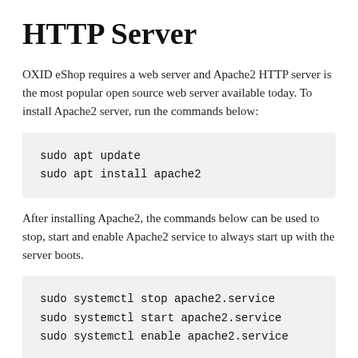HTTP Server
OXID eShop requires a web server and Apache2 HTTP server is the most popular open source web server available today. To install Apache2 server, run the commands below:
sudo apt update
sudo apt install apache2
After installing Apache2, the commands below can be used to stop, start and enable Apache2 service to always start up with the server boots.
sudo systemctl stop apache2.service
sudo systemctl start apache2.service
sudo systemctl enable apache2.service